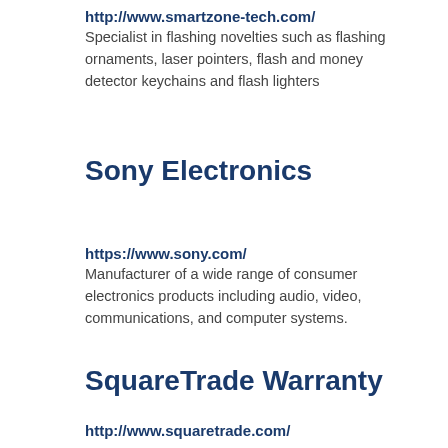http://www.smartzone-tech.com/
Specialist in flashing novelties such as flashing ornaments, laser pointers, flash and money detector keychains and flash lighters
Sony Electronics
https://www.sony.com/
Manufacturer of a wide range of consumer electronics products including audio, video, communications, and computer systems.
SquareTrade Warranty
http://www.squaretrade.com/